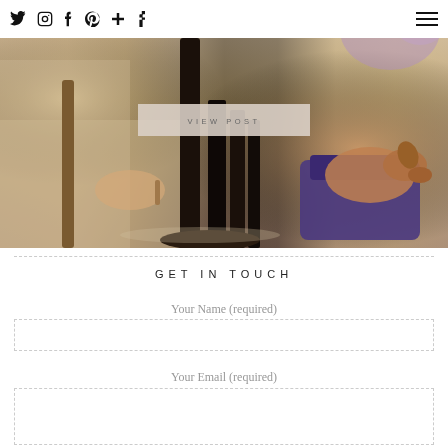Social icons: Twitter, Instagram, Facebook, Pinterest, Plus, Tumblr | Hamburger menu
[Figure (photo): A blurred lifestyle photo showing a person or dog on a purple bag/seat, with dark chair/table legs in center foreground, warm tones, with a 'VIEW POST' button overlay]
GET IN TOUCH
Your Name (required)
Your Email (required)